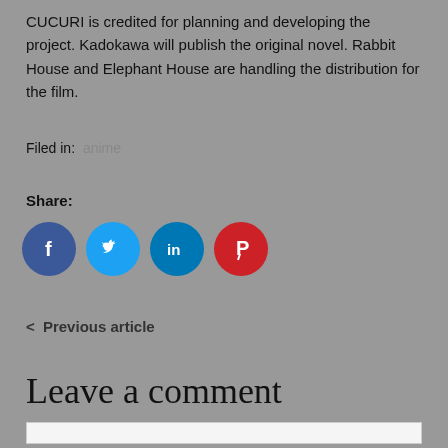CUCURI is credited for planning and developing the project. Kadokawa will publish the original novel. Rabbit House and Elephant House are handling the distribution for the film.
Filed in: anime
Share:
[Figure (infographic): Four social media share buttons: Facebook (blue circle with 'f'), Twitter (light blue circle with bird icon), LinkedIn (teal-blue circle with 'in'), Pinterest (red circle with 'P' pin icon)]
< Previous article
Leave a comment